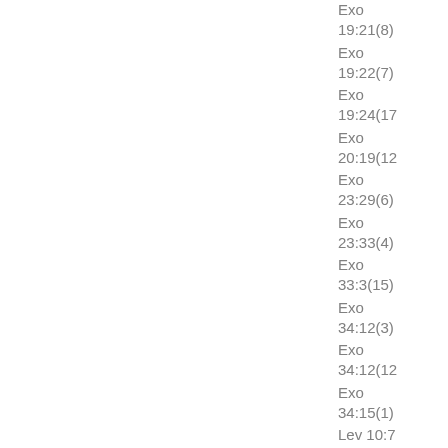Exo 19:21(8)
Exo 19:22(7)
Exo 19:24(17)
Exo 20:19(12)
Exo 23:29(6)
Exo 23:33(4)
Exo 33:3(15)
Exo 34:12(3)
Exo 34:12(12)
Exo 34:15(1)
Lev 10:7
Num